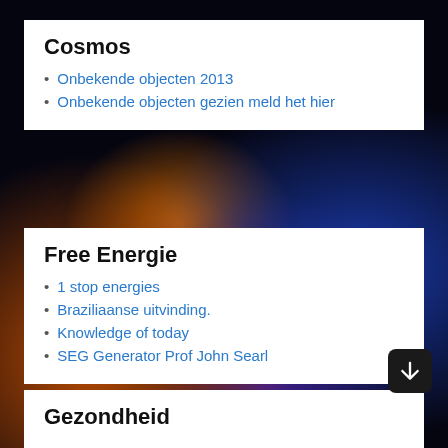Cosmos
Onbekende objecten 2013
Onbekende objecten gezien meld het hier
Free Energie
1 stop energies
Braziliaanse uitvinding.
Knowledge of today
SEG Generator Prof John Searl
Gezondheid